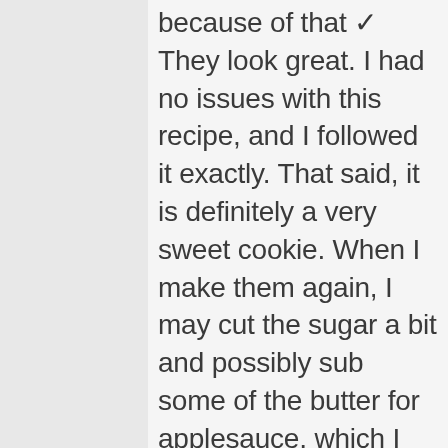because of that ✓ They look great. I had no issues with this recipe, and I followed it exactly. That said, it is definitely a very sweet cookie. When I make them again, I may cut the sugar a bit and possibly sub some of the butter for applesauce, which I sometimes do to make baked goods taste a bit less rich. However, my husband commented “there is no such thing as too sweet” and could not stop eating them, so I think it is a matter of taste. White chocolate...